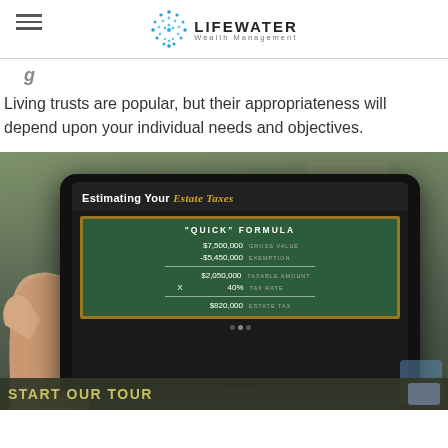LIFEWATER Wealth Management
Living trusts are popular, but their appropriateness will depend upon your individual needs and objectives.
[Figure (photo): Hand holding a tablet displaying a video titled 'Estimating Your Estate Taxes' showing a chalkboard with a quick formula: $7,500,000 Gross Value minus $5,450,000 Exemption equals $2,050,000 Taxable Amount times 40% Tax Rate equals $820,000 Estate Tax]